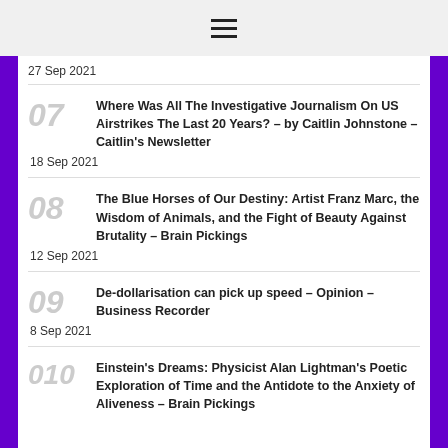☰
27 Sep 2021
07 — Where Was All The Investigative Journalism On US Airstrikes The Last 20 Years? – by Caitlin Johnstone – Caitlin's Newsletter
18 Sep 2021
08 — The Blue Horses of Our Destiny: Artist Franz Marc, the Wisdom of Animals, and the Fight of Beauty Against Brutality – Brain Pickings
12 Sep 2021
09 — De-dollarisation can pick up speed – Opinion – Business Recorder
8 Sep 2021
010 — Einstein's Dreams: Physicist Alan Lightman's Poetic Exploration of Time and the Antidote to the Anxiety of Aliveness – Brain Pickings